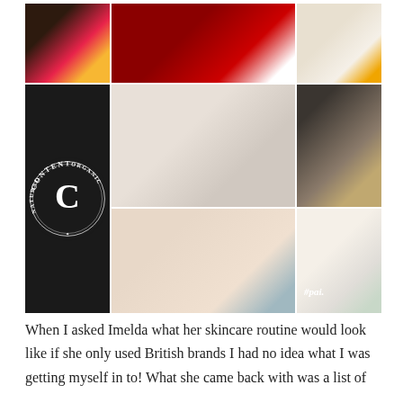[Figure (photo): A collage grid of natural, organic and British beauty/skincare product photos arranged around a central circular 'Content Natural Organic' logo badge. Products include supplements, serums, skincare creams (Pai), Skin & Tonic London, Nourish, and various botanical/gold themed imagery.]
When I asked Imelda what her skincare routine would look like if she only used British brands I had no idea what I was getting myself in to! What she came back with was a list of